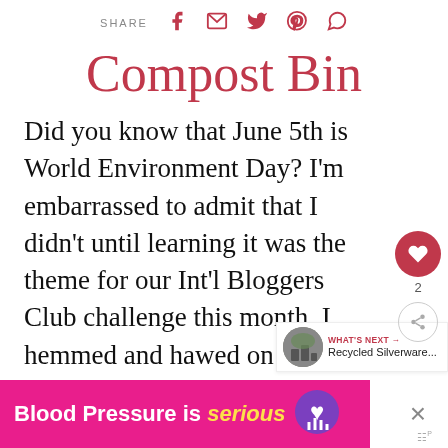SHARE [facebook] [email] [twitter] [pinterest] [whatsapp]
Compost Bin
Did you know that June 5th is World Environment Day? I'm embarrassed to admit that I didn't until learning it was the theme for our Int'l Bloggers Club challenge this month. I hemmed and hawed on what I could do to commemorate the day before realizing. "wait a minute, I've already made it".
[Figure (other): Advertisement banner: Blood Pressure is serious with heart icon]
WHAT'S NEXT → Recycled Silverware...